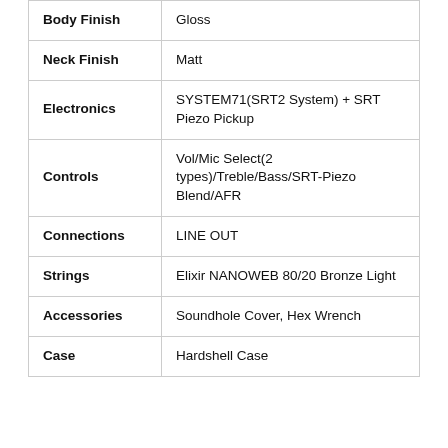| Property | Value |
| --- | --- |
| Body Finish | Gloss |
| Neck Finish | Matt |
| Electronics | SYSTEM71(SRT2 System) + SRT Piezo Pickup |
| Controls | Vol/Mic Select(2 types)/Treble/Bass/SRT-Piezo Blend/AFR |
| Connections | LINE OUT |
| Strings | Elixir NANOWEB 80/20 Bronze Light |
| Accessories | Soundhole Cover, Hex Wrench |
| Case | Hardshell Case |